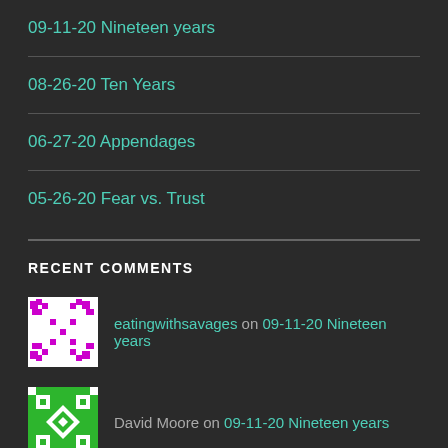09-11-20 Nineteen years
08-26-20 Ten Years
06-27-20 Appendages
05-26-20 Fear vs. Trust
RECENT COMMENTS
eatingwithsavages on 09-11-20 Nineteen years
David Moore on 09-11-20 Nineteen years
Terry Georgia on 12-27-19 A Glorious Day